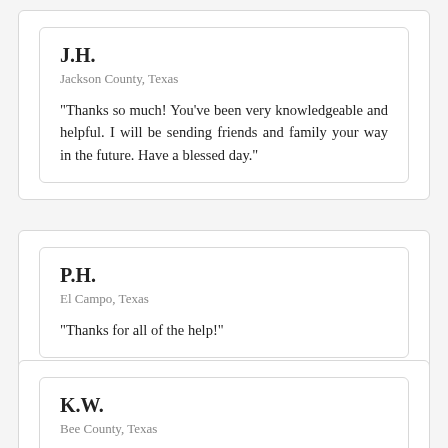J.H.
Jackson County, Texas
“Thanks so much! You’ve been very knowledgeable and helpful. I will be sending friends and family your way in the future. Have a blessed day.”
P.H.
El Campo, Texas
“Thanks for all of the help!”
K.W.
Bee County, Texas
“Thanks for the fast turnaround and detailed instructions. I will ensure I recommend your services to all that inquire. My brother-in-law should